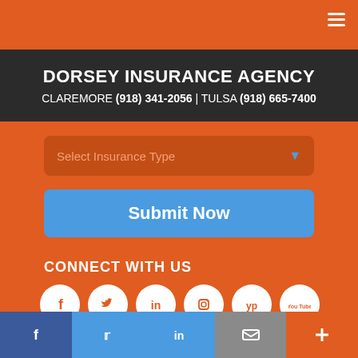DORSEY INSURANCE AGENCY
CLAREMORE (918) 341-2056 | TULSA (918) 665-7400
Select Insurance Type
Submit Now
CONNECT WITH US
[Figure (infographic): Social media icons row: Facebook, Twitter, LinkedIn, Instagram, YellowPages, YouTube — white circles on orange background]
[Figure (logo): BBB Accredited Business badge with black background and white text]
[Figure (logo): Trusted logo with blue bird/wing graphic on white background]
Facebook | Twitter | LinkedIn | Mail | +